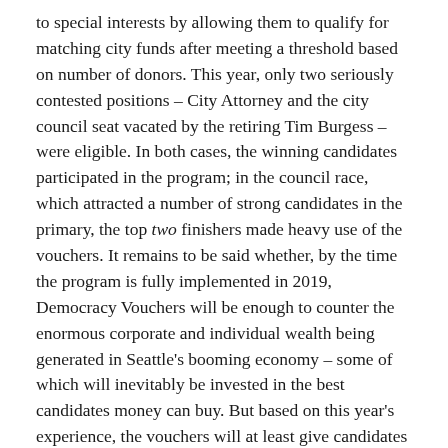to special interests by allowing them to qualify for matching city funds after meeting a threshold based on number of donors. This year, only two seriously contested positions – City Attorney and the city council seat vacated by the retiring Tim Burgess – were eligible. In both cases, the winning candidates participated in the program; in the council race, which attracted a number of strong candidates in the primary, the top two finishers made heavy use of the vouchers. It remains to be said whether, by the time the program is fully implemented in 2019, Democracy Vouchers will be enough to counter the enormous corporate and individual wealth being generated in Seattle's booming economy – some of which will inevitably be invested in the best candidates money can buy. But based on this year's experience, the vouchers will at least give candidates who don't want to auction themselves off to the highest bidders a fighting chance.
The closing window for progressive politics in Seattle: